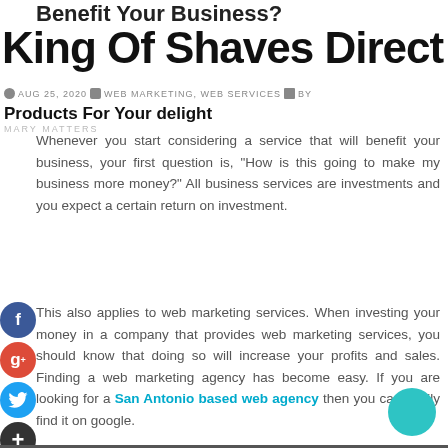Benefit Your Business?
King Of Shaves Direct
AUG 25, 2020  WEB MARKETING, WEB SERVICES  BY
Products For Your delight
MARY MATTERS
Whenever you start considering a service that will benefit your business, your first question is, "How is this going to make my business more money?" All business services are investments and you expect a certain return on investment.
This also applies to web marketing services. When investing your money in a company that provides web marketing services, you should know that doing so will increase your profits and sales. Finding a web marketing agency has become easy. If you are looking for a San Antonio based web agency then you can easily find it on google.